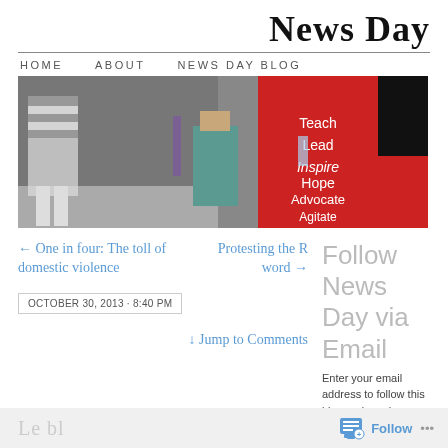News Day
HOME   ABOUT   NEWS DAY BLOG
[Figure (photo): Photo of people at an outdoor event; a person in a red shirt with white text reading Teach, Lead, Inspire, Hope, Advocate, Agitate]
← One in four: The toll of domestic violence   Protesting the R word →
OCTOBER 30, 2013 · 8:40 PM
↓ Jump to Comments
Follow News Day via Email
Enter your email address to follow this blog and receive notifications of new posts by email.
Follow  ...